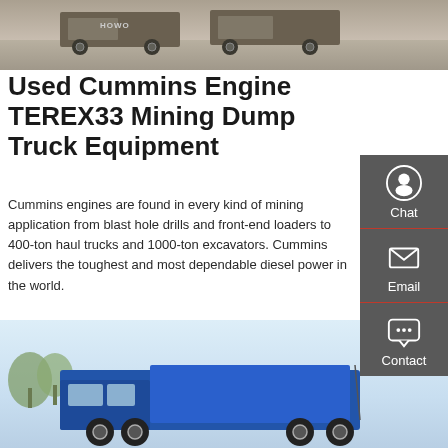[Figure (photo): Photo of HOWO trucks parked on concrete surface, viewed from side/rear]
Used Cummins Engine TEREX33 Mining Dump Truck Equipment
Cummins engines are found in every kind of mining application from blast hole drills and front-end loaders to 400-ton haul trucks and 1000-ton excavators. Cummins delivers the toughest and most dependable diesel power in the world.
GET A QUOTE
[Figure (photo): Photo of a blue mining dump truck outdoors with trees in background]